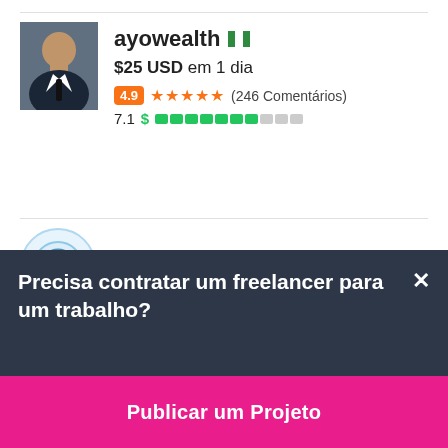[Figure (screenshot): Freelancer profile card for ayowealth (Nigeria flag), showing $25 USD in 1 day, rating 4.9 with 5 stars (246 Comments), score 7.1 with green progress bar]
ayowealth
$25 USD em 1 dia
4.9 ★★★★★ (246 Comentários)
7.1
[Figure (screenshot): Partial freelancer profile card for ShaikhAneesa with Pakistan flag, avatar with circular logo icon]
ShaikhAneesa
Precisa contratar um freelancer para um trabalho?
Publicar um Projeto